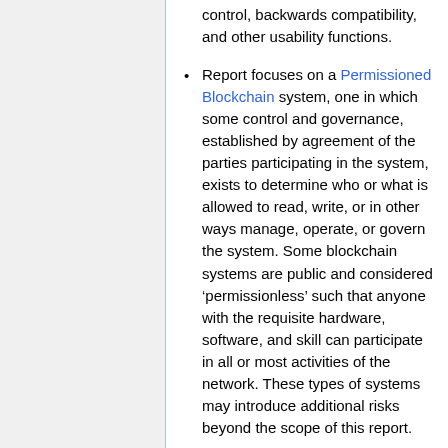control, backwards compatibility, and other usability functions.
Report focuses on a Permissioned Blockchain system, one in which some control and governance, established by agreement of the parties participating in the system, exists to determine who or what is allowed to read, write, or in other ways manage, operate, or govern the system. Some blockchain systems are public and considered ‘permissionless’ such that anyone with the requisite hardware, software, and skill can participate in all or most activities of the network. These types of systems may introduce additional risks beyond the scope of this report.